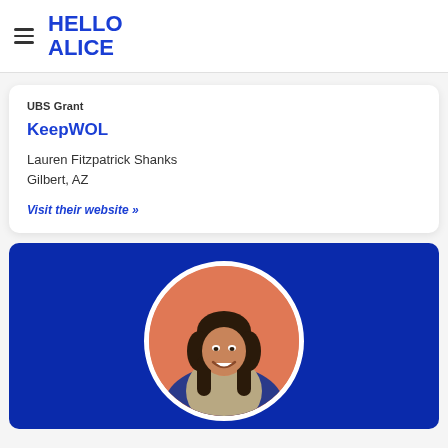[Figure (logo): Hello Alice logo — hamburger menu icon on left, 'HELLO ALICE' in bold blue stacked text on right]
UBS Grant
KeepWOL
Lauren Fitzpatrick Shanks
Gilbert, AZ
Visit their website »
[Figure (photo): Dark blue card with circular portrait photo of a smiling Asian woman with long dark hair, wearing a tan/beige blazer, seated. Orange/peach background behind the subject inside the circle frame.]